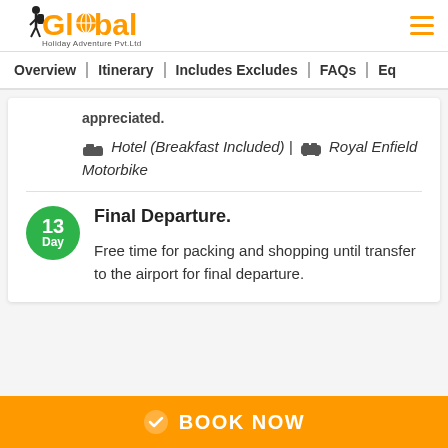[Figure (logo): Global Holiday Adventure Pvt. Ltd. logo with orange text and person with backpack icon]
Overview | Itinerary | Includes Excludes | FAQs | Eq
appreciated.
Hotel (Breakfast Included) | Royal Enfield Motorbike
13 Day Final Departure.
Free time for packing and shopping until transfer to the airport for final departure.
BOOK NOW